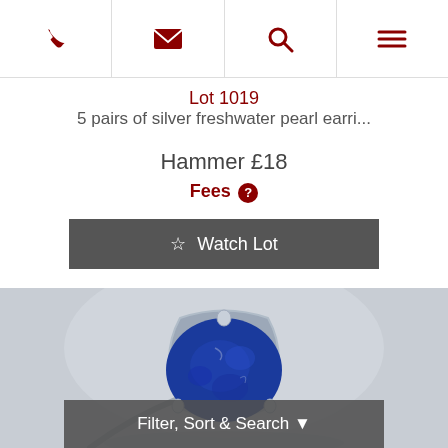navigation icons: phone, email, search, menu
Lot 1019
5 pairs of silver freshwater pearl earri...
Hammer £18
Fees ?
Watch Lot
[Figure (photo): Silver ring with large blue lapis lazuli stone in a triangular silver setting, photographed against a light grey background.]
Filter, Sort & Search